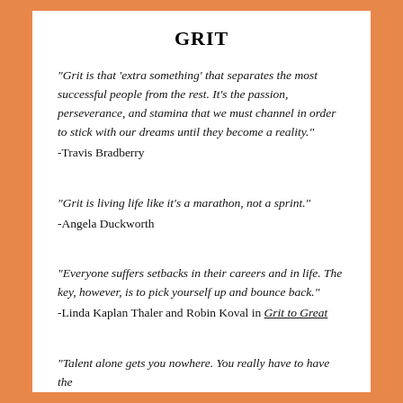GRIT
"Grit is that 'extra something' that separates the most successful people from the rest. It's the passion, perseverance, and stamina that we must channel in order to stick with our dreams until they become a reality."
-Travis Bradberry
"Grit is living life like it's a marathon, not a sprint."
-Angela Duckworth
"Everyone suffers setbacks in their careers and in life. The key, however, is to pick yourself up and bounce back."
-Linda Kaplan Thaler and Robin Koval in Grit to Great
"Talent alone gets you nowhere. You really have to have the